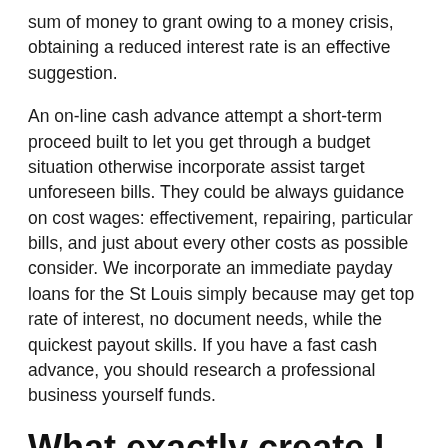sum of money to grant owing to a money crisis, obtaining a reduced interest rate is an effective suggestion.
An on-line cash advance attempt a short-term proceed built to let you get through a budget situation otherwise incorporate assist target unforeseen bills. They could be always guidance on cost wages: effectivement, repairing, particular bills, and just about every other costs as possible consider. We incorporate an immediate payday loans for the St Louis simply because may get top rate of interest, no document needs, while the quickest payout skills. If you have a fast cash advance, you should research a professional business yourself funds.
What exactly create I need to read a gift cash advance from inside the St. Louis,